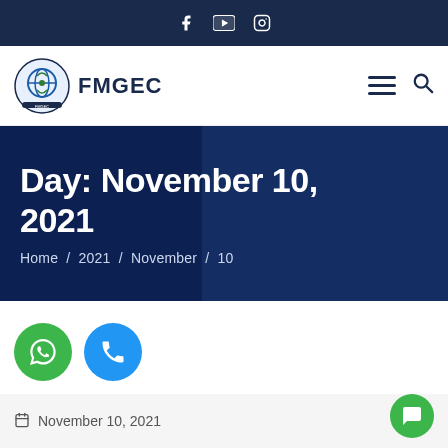Social media icons: Facebook, YouTube, Instagram
[Figure (logo): FMGEC logo with circular emblem and text FMGEC, hamburger menu icon and search icon on right]
Day: November 10, 2021
Home / 2021 / November / 10
[Figure (illustration): Green WhatsApp phone button and blue phone call button]
November 10, 2021